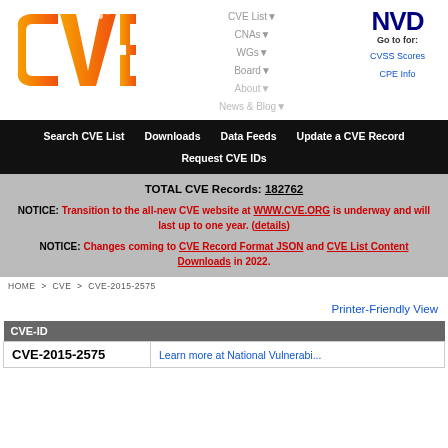[Figure (logo): CVE logo - orange gradient letters CVE]
CVE List▼  CNAs▼  WGs▼  Board▼  About▼  News & Blog▼
[Figure (logo): NVD logo - dark blue bold letters NVD, with Go to for: CVSS Scores, CPE Info links]
Search CVE List   Downloads   Data Feeds   Update a CVE Record   Request CVE IDs
TOTAL CVE Records: 182762
NOTICE: Transition to the all-new CVE website at WWW.CVE.ORG is underway and will last up to one year. (details)
NOTICE: Changes coming to CVE Record Format JSON and CVE List Content Downloads in 2022.
HOME > CVE > CVE-2015-2575
Printer-Friendly View
| CVE-ID |  |
| --- | --- |
| CVE-2015-2575 | Learn more at National Vulnerabi... |